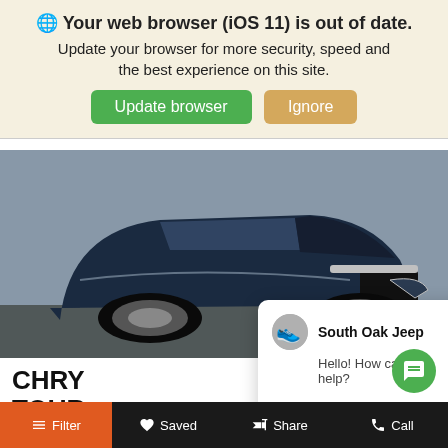🌐 Your web browser (iOS 11) is out of date. Update your browser for more security, speed and the best experience on this site. [Update browser] [Ignore]
[Figure (photo): Front quarter view of a dark blue Chrysler Pacifica minivan in a parking lot]
CHRY TOUR
SOUTH OAK
$35,88
[Figure (screenshot): Chat popup from South Oak Jeep saying 'Hello! How can we help?' with a Reply button and close X]
SCHEDULE TEST DRIVE
Filter  Saved  Share  Call